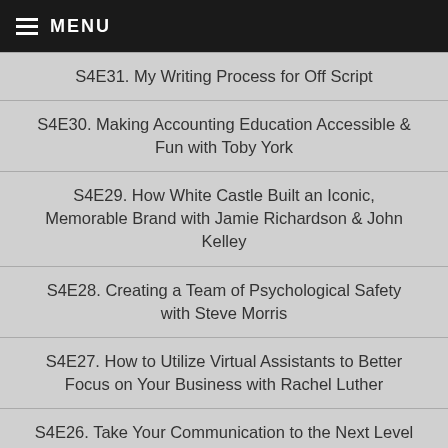MENU
S4E31. My Writing Process for Off Script
S4E30. Making Accounting Education Accessible & Fun with Toby York
S4E29. How White Castle Built an Iconic, Memorable Brand with Jamie Richardson & John Kelley
S4E28. Creating a Team of Psychological Safety with Steve Morris
S4E27. How to Utilize Virtual Assistants to Better Focus on Your Business with Rachel Luther
S4E26. Take Your Communication to the Next Level with John Sanchez